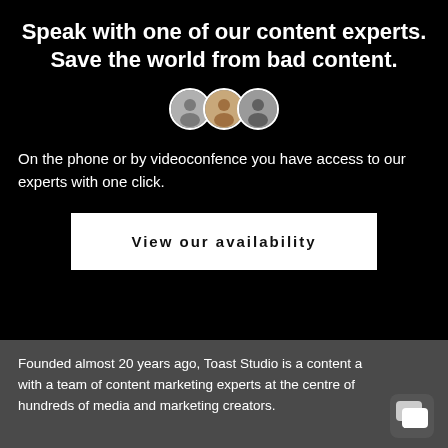Speak with one of our content experts. Save the world from bad content.
[Figure (illustration): Three overlapping circular avatar photos of content experts]
On the phone or by videoconfence you have access to our experts with one click.
View our availability
Founded almost 20 years ago, Toast Studio is a content a with a team of content marketing experts at the centre of hundreds of media and marketing creators.